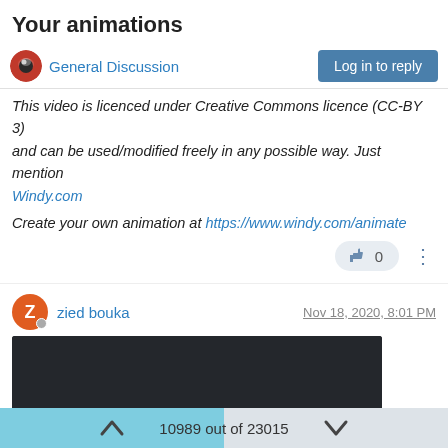Your animations
General Discussion
Log in to reply
This video is licenced under Creative Commons licence (CC-BY 3) and can be used/modified freely in any possible way. Just mention Windy.com
Create your own animation at https://www.windy.com/animate
👍 0
zied bouka
Nov 18, 2020, 8:01 PM
[Figure (screenshot): Embedded video player showing a dark video with playback controls at the bottom: play button, 0:00 timestamp, mute icon, fullscreen icon, options icon]
10989 out of 23015